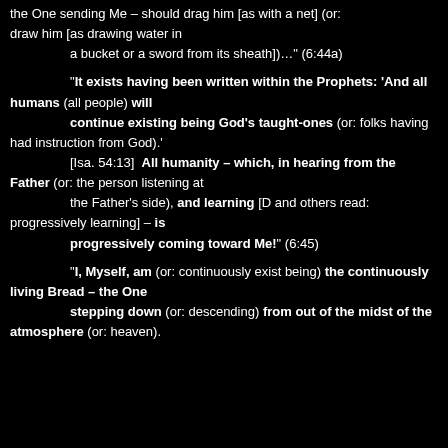the One sending Me – should drag him [as with a net] (or: draw him [as drawing water in a bucket or a sword from its sheath])…" (6:44a)
"It exists having been written within the Prophets: 'And all humans (all people) will continue existing being God's taught-ones (or: folks having had instruction from God).' [Isa. 54:13]  All humanity – which, in hearing from the Father (or: the person listening at the Father's side), and learning [D and others read: progressively learning] – is progressively coming toward Me!" (6:45)
"I, Myself, am (or: continuously exist being) the continuously living Bread – the One stepping down (or: descending) from out of the midst of the atmosphere (or: heaven).